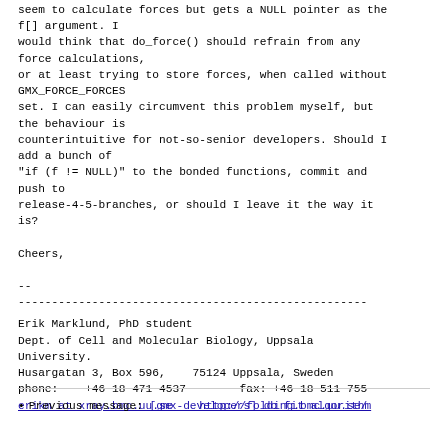seem to calculate forces but gets a NULL pointer as the f[] argument. I would think that do_force() should refrain from any force calculations, or at least trying to store forces, when called without GMX_FORCE_FORCES set. I can easily circumvent this problem myself, but the behaviour is counterintuitive for not-so-senior developers. Should I add a bunch of "if (f != NULL)" to the bonded functions, commit and push to release-4-5-branches, or should I leave it the way it is?

Cheers,

--
----------------------------------------------------
Erik Marklund, PhD student
Dept. of Cell and Molecular Biology, Uppsala University.
Husargatan 3, Box 596,    75124 Uppsala, Sweden
phone:    +46 18 471 4537        fax: +46 18 511 755
erikm at xray.bmc.uu.se    http://folding.bmc.uu.se/
Previous message: [gmx-developers] do fit algorithm